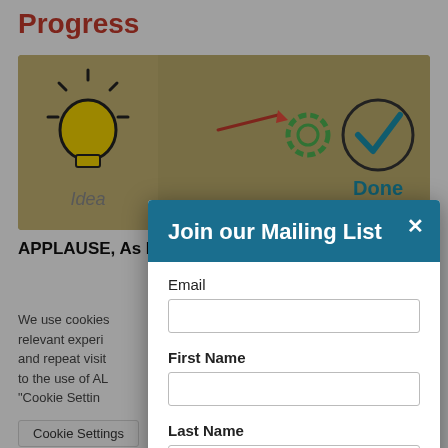Progress
[Figure (illustration): Background image showing icons for idea (lightbulb), action (arrow and target), process (gears), and completion (checkmark in circle with 'Done' label) on a yellow/tan background.]
APPLAUSE, A... Level Completion ... 2020 Covid-
We use cookies ... you the most relevant experi... ur preferences and repeat visit... , you consent to the use of AL... you may visit "Cookie Settin... d consent.
Cookie Settings
Join our Mailing List
Email
First Name
Last Name